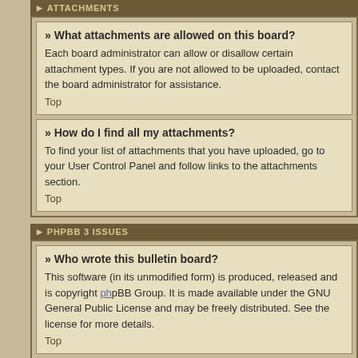ATTACHMENTS
What attachments are allowed on this board?
Each board administrator can allow or disallow certain attachment types. If you are not allowed to be uploaded, contact the board administrator for assistance.
Top
How do I find all my attachments?
To find your list of attachments that you have uploaded, go to your User Control Panel and follow links to the attachments section.
Top
PHPBB 3 ISSUES
Who wrote this bulletin board?
This software (in its unmodified form) is produced, released and is copyright phpBB Group. It is made available under the GNU General Public License and may be freely distributed. See the license for more details.
Top
Why isn't X feature available?
This software was written by and licensed through phpBB Group. If you believe a feature needs to be added, please visit the phpbb.com website and see what phpBB Group have to say. Please do not post feature requests to the board at phpbb.com, the group uses SourceForge to handle tasking of new features. Please read through the forums and see what, if any, our position may already be for a feature and then follow the procedure given there.